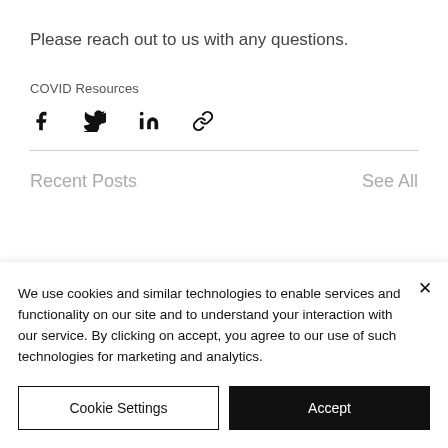Please reach out to us with any questions.
COVID Resources
[Figure (other): Social share icons: Facebook, Twitter, LinkedIn, Link/copy]
Recent Posts
See All
We use cookies and similar technologies to enable services and functionality on our site and to understand your interaction with our service. By clicking on accept, you agree to our use of such technologies for marketing and analytics.
Cookie Settings
Accept